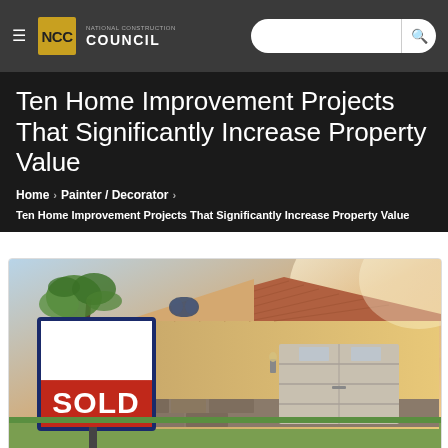NCC National Construction Council — Search bar
Ten Home Improvement Projects That Significantly Increase Property Value
Home > Painter / Decorator >
Ten Home Improvement Projects That Significantly Increase Property Value
[Figure (photo): Photo of a house with a SOLD real estate sign in the foreground. The house has a garage door, tile roof, and palm trees in the background with warm sunlight.]